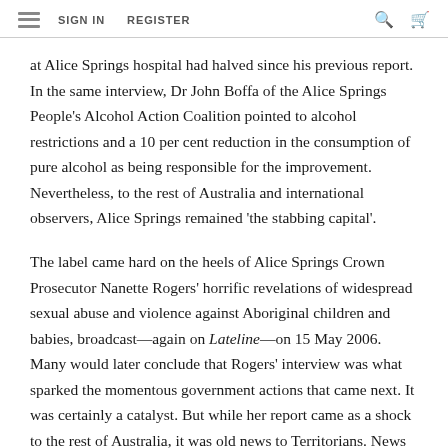SIGN IN   REGISTER
at Alice Springs hospital had halved since his previous report. In the same interview, Dr John Boffa of the Alice Springs People's Alcohol Action Coalition pointed to alcohol restrictions and a 10 per cent reduction in the consumption of pure alcohol as being responsible for the improvement. Nevertheless, to the rest of Australia and international observers, Alice Springs remained 'the stabbing capital'.
The label came hard on the heels of Alice Springs Crown Prosecutor Nanette Rogers' horrific revelations of widespread sexual abuse and violence against Aboriginal children and babies, broadcast—again on Lateline—on 15 May 2006. Many would later conclude that Rogers' interview was what sparked the momentous government actions that came next. It was certainly a catalyst. But while her report came as a shock to the rest of Australia, it was old news to Territorians. News outlets had reported on such